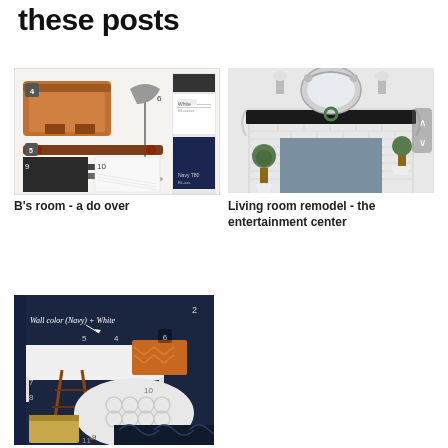these posts
[Figure (photo): Mood board collage for B's room showing wooden chest, lamp, curtain fabric swatches, cabinet handles, navy and white fabric samples, paint color chips (White and Navy T80)]
[Figure (photo): Living room fireplace remodel showing white subway tile surround, dark wood mantel, mirror, sconces, topiary plants, and grey painted firebox]
B's room - a do over
Living room remodel - the entertainment center
[Figure (photo): Room design mood board with navy walls labeled 'Wall color (Navy) + White', numbered furniture and decor items including white desk, wooden step stool, orange chevron pillow, round white rug, and wood accessories]